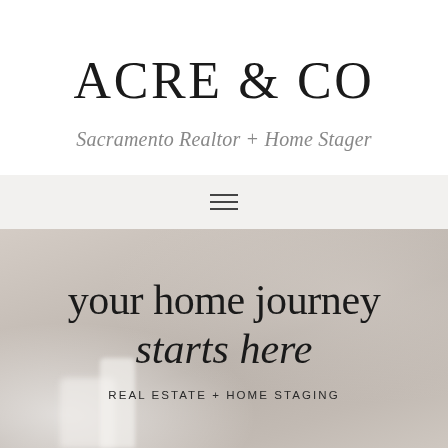ACRE & CO
Sacramento Realtor + Home Stager
[Figure (other): Hamburger menu icon with three horizontal lines]
[Figure (photo): Blurred interior room photo with warm neutral tones, serving as hero background]
your home journey starts here
REAL ESTATE + HOME STAGING